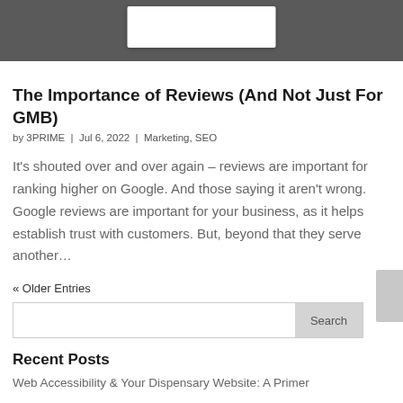[Figure (screenshot): A cropped screenshot of a website interface showing a profile/article card on a dark gray background]
The Importance of Reviews (And Not Just For GMB)
by 3PRIME  |  Jul 6, 2022  |  Marketing, SEO
It's shouted over and over again – reviews are important for ranking higher on Google. And those saying it aren't wrong. Google reviews are important for your business, as it helps establish trust with customers. But, beyond that they serve another…
« Older Entries
Search
Recent Posts
Web Accessibility & Your Dispensary Website: A Primer